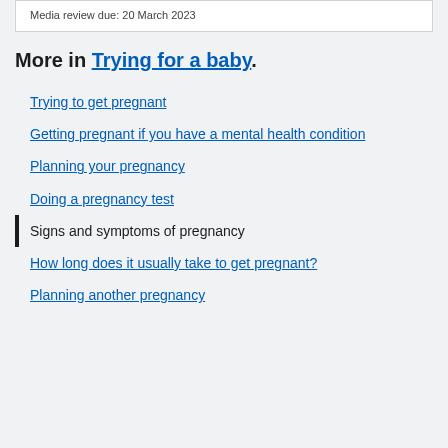Media review due: 20 March 2023
More in Trying for a baby.
Trying to get pregnant
Getting pregnant if you have a mental health condition
Planning your pregnancy
Doing a pregnancy test
Signs and symptoms of pregnancy
How long does it usually take to get pregnant?
Planning another pregnancy